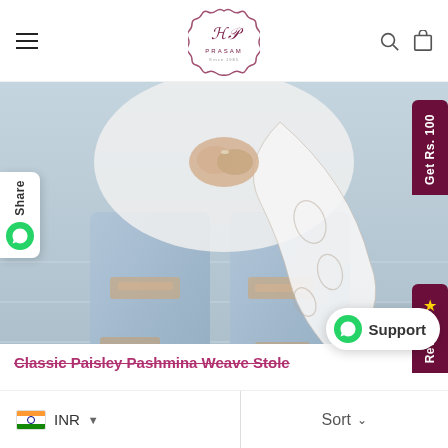PRASAM
[Figure (photo): Fashion photo of a person wearing a white Pashmina paisley weave stole draped over a white top and distressed blue jeans, photographed from the waist down against a light blue-grey background.]
Classic Paisley Pashmina Weave Stole
INR
Sort